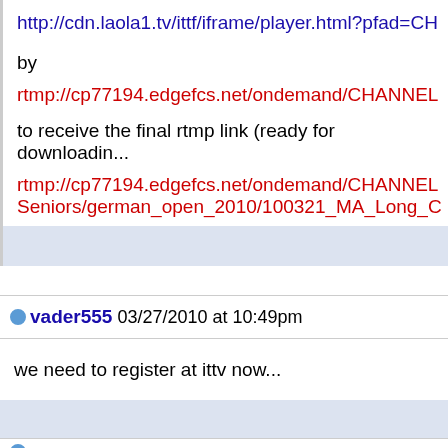http://cdn.laola1.tv/ittf/iframe/player.html?pfad=CH
by
rtmp://cp77194.edgefcs.net/ondemand/CHANNEL
to receive the final rtmp link (ready for downloadin...
rtmp://cp77194.edgefcs.net/ondemand/CHANNEL
Seniors/german_open_2010/100321_MA_Long_C
vader555 03/27/2010 at 10:49pm
we need to register at ittv now...